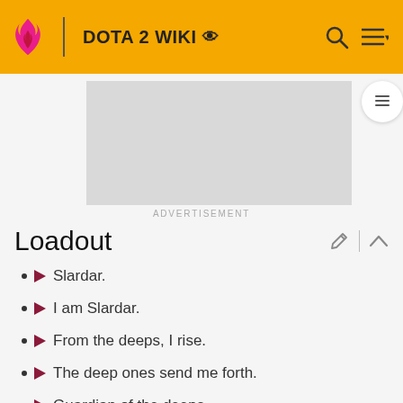DOTA 2 WIKI
[Figure (screenshot): Advertisement placeholder (gray box)]
ADVERTISEMENT
Loadout
Slardar.
I am Slardar.
From the deeps, I rise.
The deep ones send me forth.
Guardian of the deeps.
Slither.
Deep ones guide me.
You won't escape.